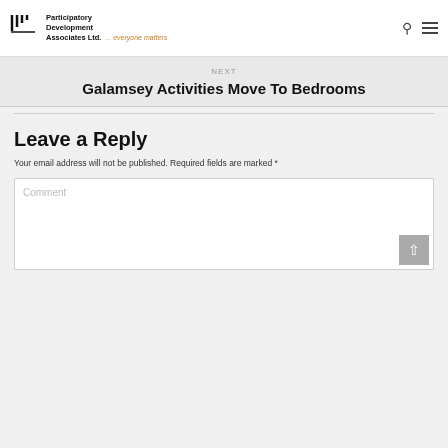Participatory Development Associates Ltd. ... everyone matters
NEXT
Galamsey Activities Move To Bedrooms
Leave a Reply
Your email address will not be published. Required fields are marked *
Comment